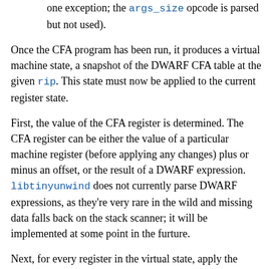one exception; the args_size opcode is parsed but not used).
Once the CFA program has been run, it produces a virtual machine state, a snapshot of the DWARF CFA table at the given rip. This state must now be applied to the current register state.
First, the value of the CFA register is determined. The CFA register can be either the value of a particular machine register (before applying any changes) plus or minus an offset, or the result of a DWARF expression. libtinyunwind does not currently parse DWARF expressions, as they're very rare in the wild and missing data falls back on the stack scanner; it will be implemented at some point in the furture.
Next, for every register in the virtual state, apply the virtual register value and location to the real register. A register's location can be "unused" (don't change the real one), "CFA